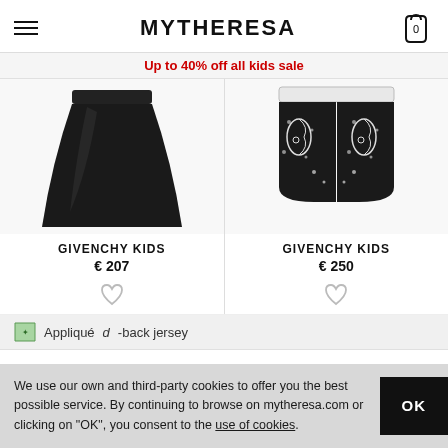MYTHERESA
Up to 40% off all kids sale
[Figure (photo): Black flared jersey skirt from Givenchy Kids against light background]
[Figure (photo): Black and white paisley print shorts from Givenchy Kids against light background]
GIVENCHY KIDS
€ 207
GIVENCHY KIDS
€ 250
Appliquéd-back jersey
We use our own and third-party cookies to offer you the best possible service. By continuing to browse on mytheresa.com or clicking on "OK", you consent to the use of cookies.